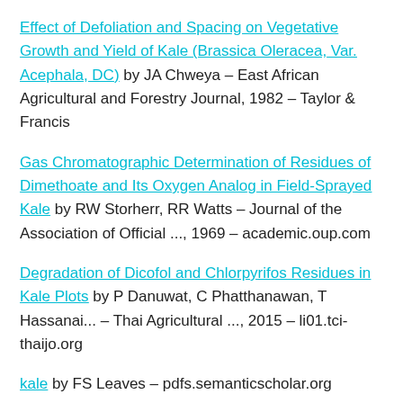Effect of Defoliation and Spacing on Vegetative Growth and Yield of Kale (Brassica Oleracea, Var. Acephala, DC) by JA Chweya – East African Agricultural and Forestry Journal, 1982 – Taylor & Francis
Gas Chromatographic Determination of Residues of Dimethoate and Its Oxygen Analog in Field-Sprayed Kale by RW Storherr, RR Watts – Journal of the Association of Official ..., 1969 – academic.oup.com
Degradation of Dicofol and Chlorpyrifos Residues in Kale Plots by P Danuwat, C Phatthanawan, T Hassanai... – Thai Agricultural ..., 2015 – li01.tci-thaijo.org
kale by FS Leaves – pdfs.semanticscholar.org